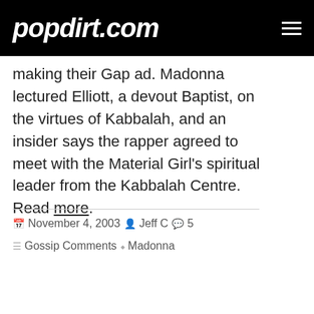popdirt.com
making their Gap ad. Madonna lectured Elliott, a devout Baptist, on the virtues of Kabbalah, and an insider says the rapper agreed to meet with the Material Girl's spiritual leader from the Kabbalah Centre. Read more.
November 4, 2003  Jeff C  5
Gossip Comments  Madonna